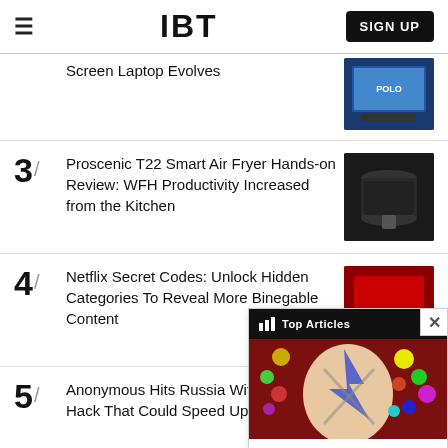IBT | SIGN UP
Screen Laptop Evolves
3/ Proscenic T22 Smart Air Fryer Hands-on Review: WFH Productivity Increased from the Kitchen
4/ Netflix Secret Codes: Unlock Hidden Categories To Reveal More Binegable Content
5/ Anonymous Hits Russia With De... Hack That Could Speed Up End...
[Figure (screenshot): Top Articles overlay popup showing 'New Spider Genus,S... Named After David ...' with a Bowie-like face image background]